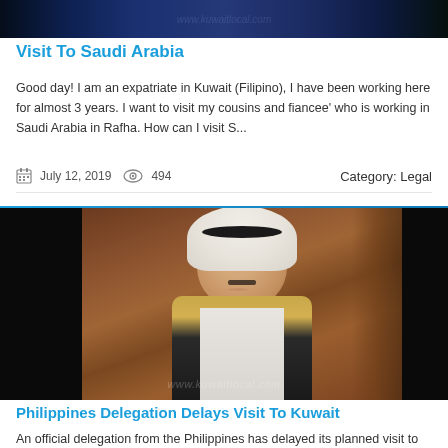[Figure (photo): Dark cityscape/night scene banner image for Kuwait website]
Visit To Saudi Arabia
Good day! I am an expatriate in Kuwait (Filipino), I have been working here for almost 3 years. I want to visit my cousins and fiancee' who is working in Saudi Arabia in Rafha. How can I visit S...
July 12, 2019   494   Category: Legal
[Figure (photo): Photo of a Kuwaiti official in traditional dress (white keffiyeh, bisht), smiling, in front of wooden background. Watermark: www.kuwaitlocal.com]
Philippines Delegation Delays Visit To Kuwait
An official delegation from the Philippines has delayed its planned visit to Kuwait till the end